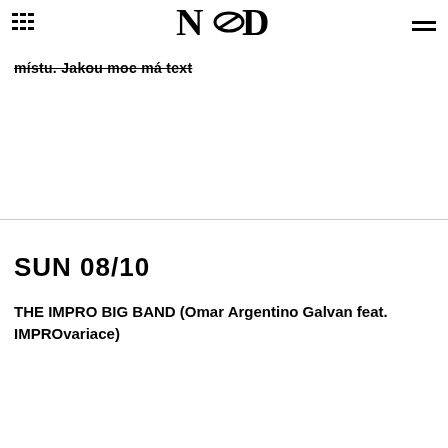NOD
místu. Jakou moc má text
SUN 08/10
THE IMPRO BIG BAND (Omar Argentino Galvan feat. IMPROvariace)